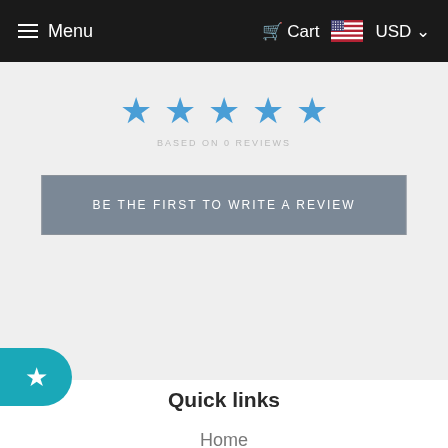Menu   Cart   USD
[Figure (other): Five blue star rating icons]
BE THE FIRST TO WRITE A REVIEW
[Figure (other): Teal rounded badge with white star icon on left edge]
Quick links
Home
About us
Contact us
Promfast Blog
Custom Made
Color Chart